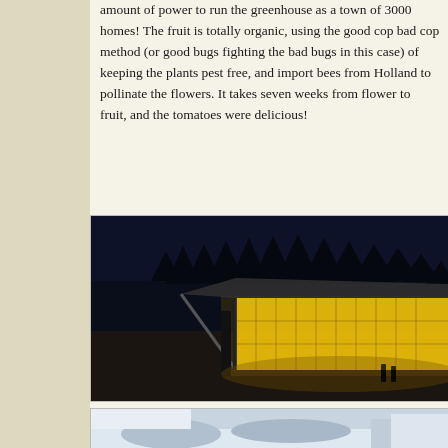amount of power to run the greenhouse as a town of 3000 homes! The fruit is totally organic, using the good cop bad cop method (or good bugs fighting the bad bugs in this case) of keeping the plants pest free, and import bees from Holland to pollinate the flowers. It takes seven weeks from flower to fruit, and the tomatoes were delicious!
[Figure (photo): Night photograph of a large illuminated greenhouse building glowing bright yellow-orange against a dark blue evening sky, with silhouettes of tall pine trees in the background and two small human figures visible near the base of the structure on a snowy/sandy slope.]
[Figure (photo): Partial view of a snow scene photograph, partially cut off at the bottom of the page.]